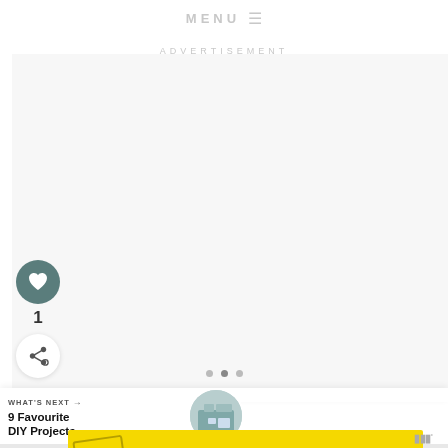MENU
ADVERTISEMENT
[Figure (screenshot): Like/heart button (dark teal circle with heart icon), like count '1', and share button below it. Three carousel navigation dots visible.]
[Figure (screenshot): What's Next navigation card: 'WHAT'S NEXT →' label, title '9 Favourite DIY Projects...' with a circular thumbnail image of a home workspace.]
[Figure (infographic): Yellow advertisement banner: stamp graphic, 'It’s okay to question. Now get the facts on COVID-19 vaccines' text, GetVaccineAnswers.org button, and a logo on the right.]